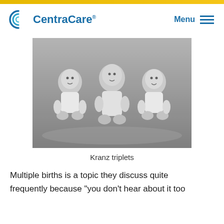CentraCare
[Figure (photo): Black and white photograph of three babies (Kranz triplets) sitting side by side, dressed in light-colored clothing]
Kranz triplets
Multiple births is a topic they discuss quite frequently because "you don't hear about it too